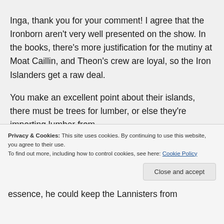Inga, thank you for your comment! I agree that the Ironborn aren't very well presented on the show. In the books, there's more justification for the mutiny at Moat Caillin, and Theon's crew are loyal, so the Iron Islanders get a raw deal.
You make an excellent point about their islands, there must be trees for lumber, or else they're importing lumber from
essence, he could keep the Lannisters from
Privacy & Cookies: This site uses cookies. By continuing to use this website, you agree to their use.
To find out more, including how to control cookies, see here: Cookie Policy